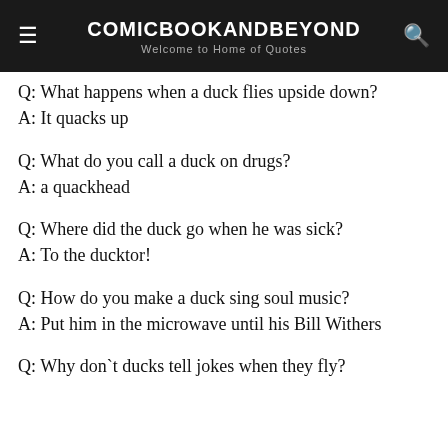COMICBOOKANDBEYOND — Welcome to Home of Quotes
Q: What happens when a duck flies upside down?
A: It quacks up
Q: What do you call a duck on drugs?
A: a quackhead
Q: Where did the duck go when he was sick?
A: To the ducktor!
Q: How do you make a duck sing soul music?
A: Put him in the microwave until his Bill Withers
Q: Why don`t ducks tell jokes when they fly?